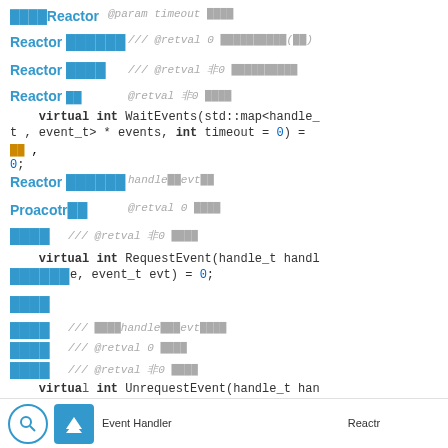[Figure (screenshot): Code documentation page showing C++ interface methods WaitEvents, RequestEvent, and UnrequestEvent with Japanese annotations and navigation sidebar links for Reactor and Proacotr classes]
Event Handler　　　　　　　　　　　　　　　　Reactr